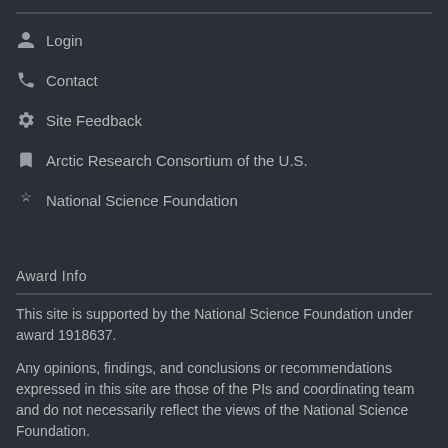Login
Contact
Site Feedback
Arctic Research Consortium of the U.S.
National Science Foundation
Award Info
This site is supported by the National Science Foundation under award 1918637.
Any opinions, findings, and conclusions or recommendations expressed in this site are those of the PIs and coordinating team and do not necessarily reflect the views of the National Science Foundation.